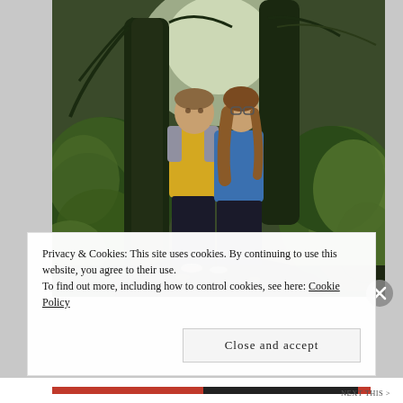[Figure (photo): Two people standing in a mossy forest. The man on the left wears a yellow and gray jacket with dark pants. The woman on the right wears a blue jacket with dark pants and glasses. They are surrounded by moss-covered rocks and trees.]
Privacy & Cookies: This site uses cookies. By continuing to use this website, you agree to their use.
To find out more, including how to control cookies, see here: Cookie Policy
Close and accept